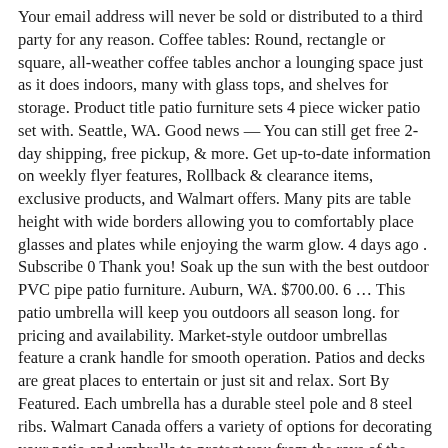Your email address will never be sold or distributed to a third party for any reason. Coffee tables: Round, rectangle or square, all-weather coffee tables anchor a lounging space just as it does indoors, many with glass tops, and shelves for storage. Product title patio furniture sets 4 piece wicker patio set with. Seattle, WA. Good news — You can still get free 2-day shipping, free pickup, & more. Get up-to-date information on weekly flyer features, Rollback & clearance items, exclusive products, and Walmart offers. Many pits are table height with wide borders allowing you to comfortably place glasses and plates while enjoying the warm glow. 4 days ago . Subscribe 0 Thank you! Soak up the sun with the best outdoor PVC pipe patio furniture. Auburn, WA. $700.00. 6 … This patio umbrella will keep you outdoors all season long. for pricing and availability. Market-style outdoor umbrellas feature a crank handle for smooth operation. Patios and decks are great places to entertain or just sit and relax. Sort By Featured. Each umbrella has a durable steel pole and 8 steel ribs. Walmart Canada offers a variety of options for decorating your patio and umbrella to protect you from the rays of the sun. Find patio umbrellas at Lowe's today. SAVE YOUR RECEIPT. Compare; Find My Store. Wayfair's patio furniture sale saves YOU up to 70% off patio sets, patio tables, patio chairs, and more stuff for your patio, The Wayfair Memorial Day sale shouldn't be underestimated: it's among the best Memorial Day furniture sales around. Free shipping, no order min. Make your patio the place to be this